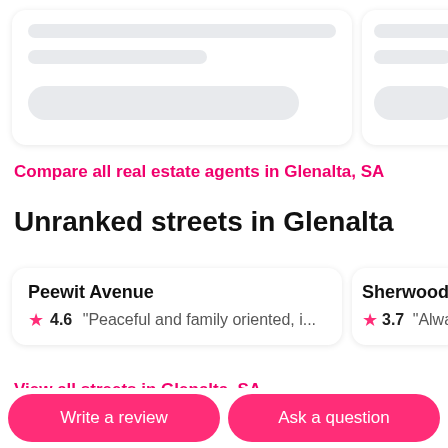[Figure (screenshot): Skeleton loading cards at top of page]
Compare all real estate agents in Glenalta, SA
Unranked streets in Glenalta
Peewit Avenue  4.6  "Peaceful and family oriented, i...
Sherwood  3.7  "Alwa...
View all streets in Glenalta, SA
Write a review
Ask a question